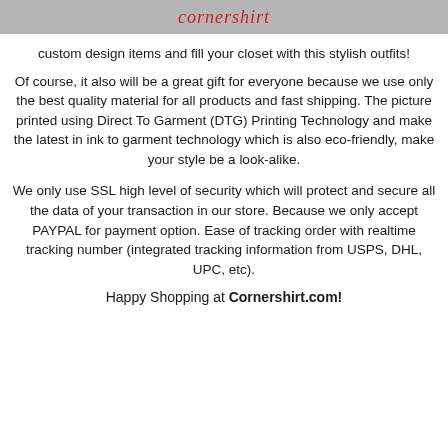cornershirt
custom design items and fill your closet with this stylish outfits!
Of course, it also will be a great gift for everyone because we use only the best quality material for all products and fast shipping. The picture printed using Direct To Garment (DTG) Printing Technology and make the latest in ink to garment technology which is also eco-friendly, make your style be a look-alike.
We only use SSL high level of security which will protect and secure all the data of your transaction in our store. Because we only accept PAYPAL for payment option. Ease of tracking order with realtime tracking number (integrated tracking information from USPS, DHL, UPC, etc).
Happy Shopping at Cornershirt.com!